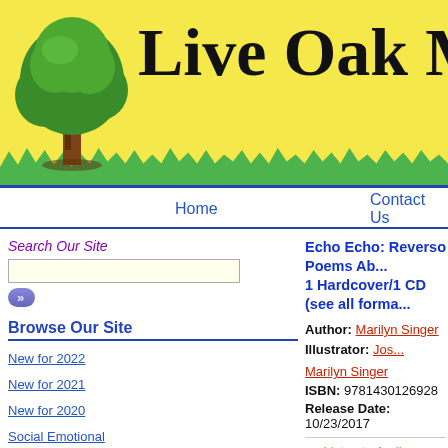[Figure (logo): Live Oak Media website header with tree logo and yellow background with green grass]
Home   Contact Us   Your
Search Our Site
Browse Our Site
New for 2022
New for 2021
New for 2020
Social Emotional
Diversity and Inclusion
Award Winners
Nonfiction Informational
Echo Echo: Reverso Poems Ab... 1 Hardcover/1 CD (see all forma...
Author: Marilyn Singer   Illustrator: Jos... Marilyn Singer
ISBN: 9781430126928
Release Date: 10/23/2017
Listen to Audio Sample
Echo Echo 1 HC/1 CD
ISBN: 9781430126928
$29.95   Qty: 1   Add to Cart